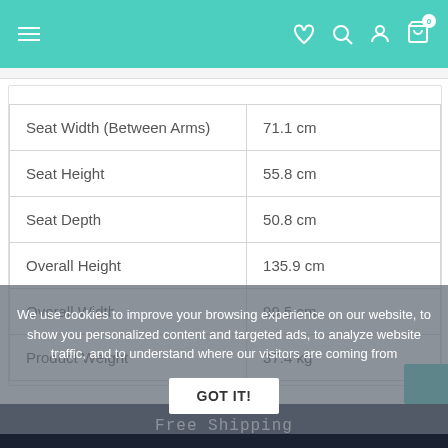Navigation bar with hamburger menu and icons (heart, search, account, cart)
| Attribute | Value |
| --- | --- |
| Seat Width (Between Arms) | 71.1 cm |
| Seat Height | 55.8 cm |
| Seat Depth | 50.8 cm |
| Overall Height | 135.9 cm |
| Overall Width | 99.5 cm |
| Product Weight | 37.4 kg |
We use cookies to improve your browsing experience on our website, to show you personalized content and targeted ads, to analyze website traffic, and to understand where our visitors are coming from
GOT IT!
Free Shipping